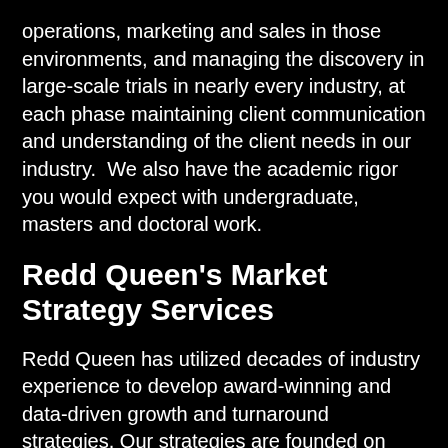operations, marketing and sales in those environments, and managing the discovery in large-scale trials in nearly every industry, at each phase maintaining client communication and understanding of the client needs in our industry.  We also have the academic rigor you would expect with undergraduate, masters and doctoral work.
Redd Queen's Market Strategy Services
Redd Queen has utilized decades of industry experience to develop award-winning and data-driven growth and turnaround strategies. Our strategies are founded on innovative and disruptive methods designed to align with objectives and achieve or exceed your business goals. By using a personalized